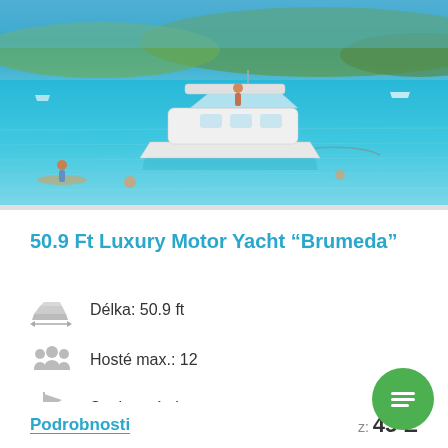[Figure (photo): A white luxury motor yacht on clear turquoise-blue water, with people on board and in the water, green hills in background]
50.9 Ft Luxury Motor Yacht “Brumeda”
Délka: 50.9 ft
Hosté max.: 12
Soukromá charta
Podrobnosti
z: 45 E